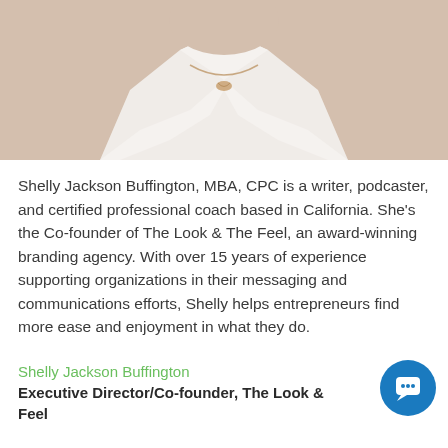[Figure (photo): Close-up photo of a person wearing a white shirt with a gold/rose necklace, showing neck and chest area only]
Shelly Jackson Buffington, MBA, CPC is a writer, podcaster, and certified professional coach based in California. She's the Co-founder of The Look & The Feel, an award-winning branding agency. With over 15 years of experience supporting organizations in their messaging and communications efforts, Shelly helps entrepreneurs find more ease and enjoyment in what they do.
Shelly Jackson Buffington
Executive Director/Co-founder, The Look & Feel